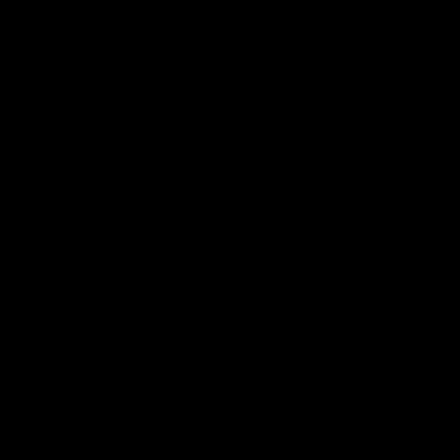u LO of we aft col I avo loo mu at tho pho of me wh Mr Bir anc I sta dat 12i vo